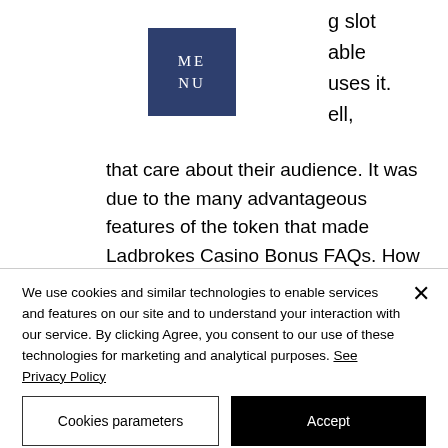[Figure (other): Dark blue/navy square menu button with 'ME NU' text in white serif font]
g slot
able
uses it.
ell,
that care about their audience. It was due to the many advantageous features of the token that made
Ladbrokes Casino Bonus FAQs. How do you use Ladbrokes casino bonus? This 50 Welcome Bonus can be used on any Casino/Slot/Games or Live Casino games across Ladbrokes Casino with the exception
We use cookies and similar technologies to enable services and features on our site and to understand your interaction with our service. By clicking Agree, you consent to our use of these technologies for marketing and analytical purposes. See Privacy Policy
Cookies parameters
Accept